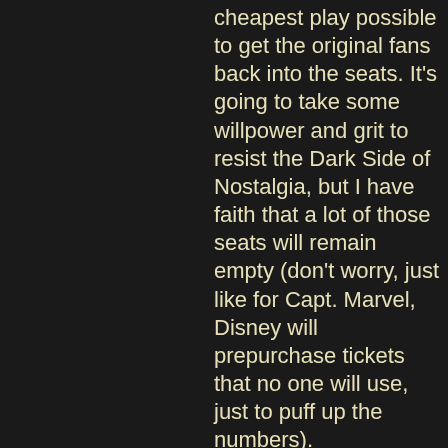cheapest play possible to get the original fans back into the seats. It's going to take some willpower and grit to resist the Dark Side of Nostalgia, but I have faith that a lot of those seats will remain empty (don't worry, just like for Capt. Marvel, Disney will prepurchase tickets that no one will use, just to puff up the numbers).
There is SO much